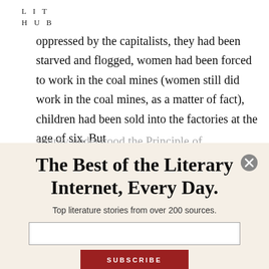LIT
HUB
oppressed by the capitalists, they had been starved and flogged, women had been forced to work in the coal mines (women still did work in the coal mines, as a matter of fact), children had been sold into the factories at the age of six. But
The Best of the Literary Internet, Every Day.
Top literature stories from over 200 sources.
SUBSCRIBE